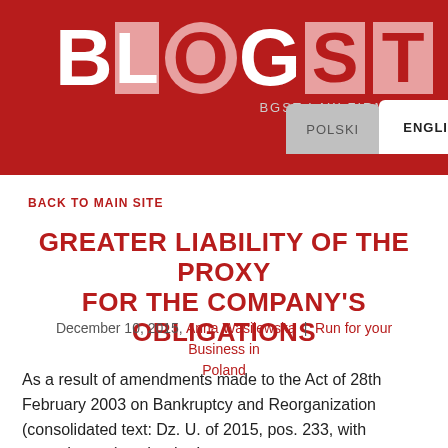[Figure (logo): BLOGST - BGST Law Firm Blog logo on red banner background with language tabs (POLSKI, ENGLISH)]
Back to main site
Greater Liability of the Proxy for the Company's Obligations
December 10, 2015, Anna Wasilewska | Run for your Business in Poland
As a result of amendments made to the Act of 28th February 2003 on Bankruptcy and Reorganization (consolidated text: Dz. U. of 2015, pos. 233, with amendments) under the Law